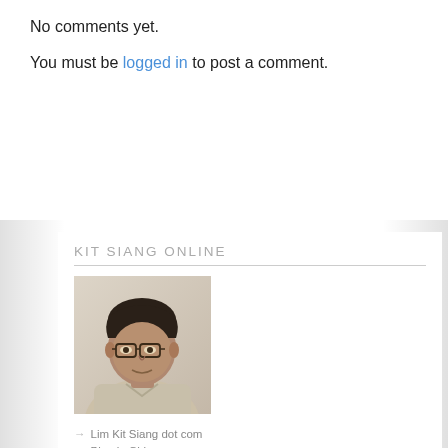No comments yet.
You must be logged in to post a comment.
KIT SIANG ONLINE
[Figure (photo): Portrait photo of Lim Kit Siang, a man wearing glasses and a light-colored shirt/jacket, against a neutral background.]
Lim Kit Siang dot com
Blog in Chinese
My Bibliotheca on Malaysia
Like My Facebook Page
My FB – friends limits reached